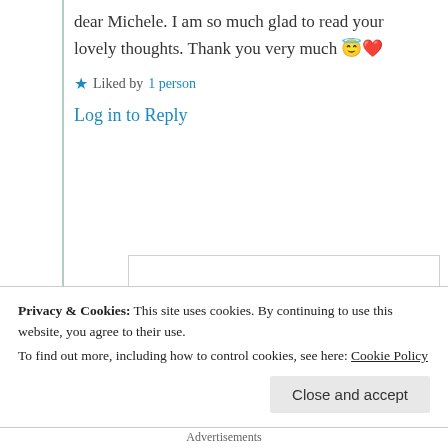dear Michele. I am so much glad to read your lovely thoughts. Thank you very much 😇❤️
★ Liked by 1 person
Log in to Reply
Michele Lee
7th Jul 2021 at 4:56
Privacy & Cookies: This site uses cookies. By continuing to use this website, you agree to their use.
To find out more, including how to control cookies, see here: Cookie Policy
Close and accept
Advertisements